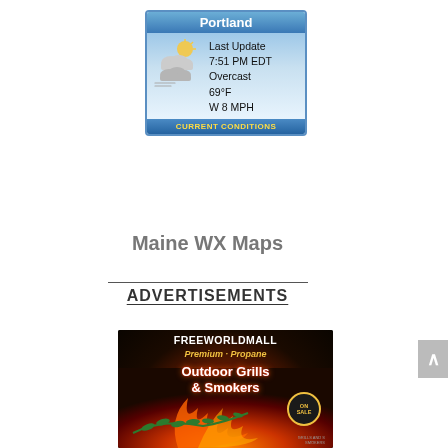[Figure (infographic): Portland weather widget showing: Last Update 7:51 PM EDT, Overcast, 69°F, W 8 MPH, with cloud icon and CURRENT CONDITIONS footer]
Maine WX Maps
ADVERTISEMENTS
[Figure (infographic): FREEWORLDMALL advertisement banner for Premium Propane Outdoor Grills & Smokers ON SALE, with fire background imagery and rosemary herb]